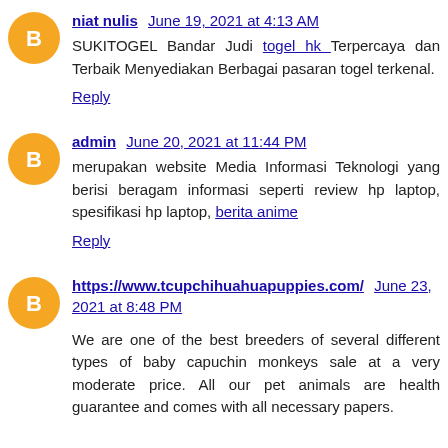niat nulis  June 19, 2021 at 4:13 AM
SUKITOGEL Bandar Judi togel hk Terpercaya dan Terbaik Menyediakan Berbagai pasaran togel terkenal.
Reply
admin  June 20, 2021 at 11:44 PM
merupakan website Media Informasi Teknologi yang berisi beragam informasi seperti review hp laptop, spesifikasi hp laptop, berita anime
Reply
https://www.tcupchihuahuapuppies.com/  June 23, 2021 at 8:48 PM
We are one of the best breeders of several different types of baby capuchin monkeys sale at a very moderate price. All our pet animals are health guarantee and comes with all necessary papers.